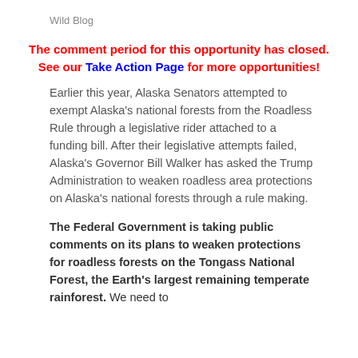Wild Blog
The comment period for this opportunity has closed. See our Take Action Page for more opportunities!
Earlier this year, Alaska Senators attempted to exempt Alaska's national forests from the Roadless Rule through a legislative rider attached to a funding bill. After their legislative attempts failed, Alaska's Governor Bill Walker has asked the Trump Administration to weaken roadless area protections on Alaska's national forests through a rule making.
The Federal Government is taking public comments on its plans to weaken protections for roadless forests on the Tongass National Forest, the Earth's largest remaining temperate rainforest. We need to